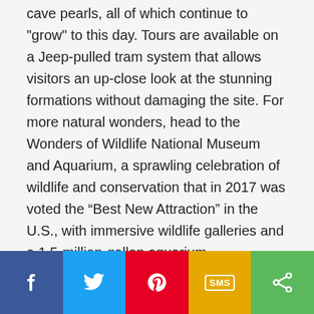cave pearls, all of which continue to "grow" to this day. Tours are available on a Jeep-pulled tram system that allows visitors an up-close look at the stunning formations without damaging the site. For more natural wonders, head to the Wonders of Wildlife National Museum and Aquarium, a sprawling celebration of wildlife and conservation that in 2017 was voted the “Best New Attraction” in the U.S., with immersive wildlife galleries and a 1.5-million-gallon aquarium.
3. Branson
Drive 44 miles • 48 minutes
[Figure (infographic): Social sharing bar with five buttons: Facebook (blue), Twitter (light blue), Pinterest (red), SMS (yellow/gold), Share (green)]